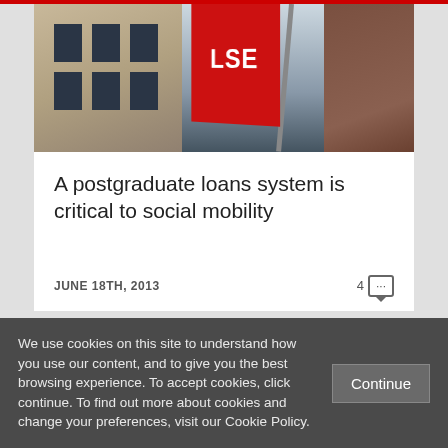[Figure (photo): Photograph of LSE (London School of Economics) building exterior with red triangular LSE banner/flag visible, brick building in background]
A postgraduate loans system is critical to social mobility
JUNE 18TH, 2013
4 [comment bubble icon with ...]
We use cookies on this site to understand how you use our content, and to give you the best browsing experience. To accept cookies, click continue. To find out more about cookies and change your preferences, visit our Cookie Policy.